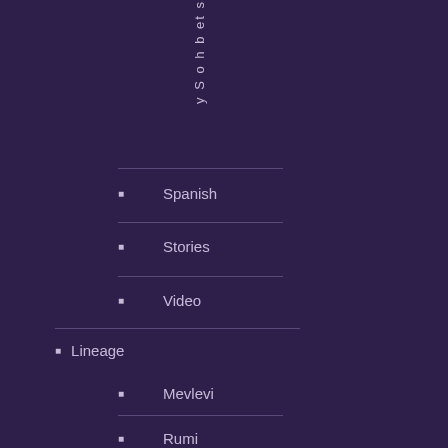y S o h b et s
Spanish
Stories
Video
Lineage
Mevlevi
Rumi
London April 2015